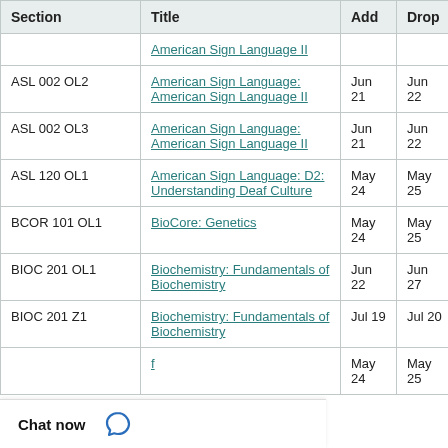| Section | Title | Add | Drop |  |
| --- | --- | --- | --- | --- |
|  | American Sign Language II |  |  |  |
| ASL 002 OL2 | American Sign Language: American Sign Language II | Jun 21 | Jun 22 |  |
| ASL 002 OL3 | American Sign Language: American Sign Language II | Jun 21 | Jun 22 |  |
| ASL 120 OL1 | American Sign Language: D2: Understanding Deaf Culture | May 24 | May 25 |  |
| BCOR 101 OL1 | BioCore: Genetics | May 24 | May 25 |  |
| BIOC 201 OL1 | Biochemistry: Fundamentals of Biochemistry | Jun 22 | Jun 27 |  |
| BIOC 201 Z1 | Biochemistry: Fundamentals of Biochemistry | Jul 19 | Jul 20 |  |
|  | f | May 24 | May 25 |  |